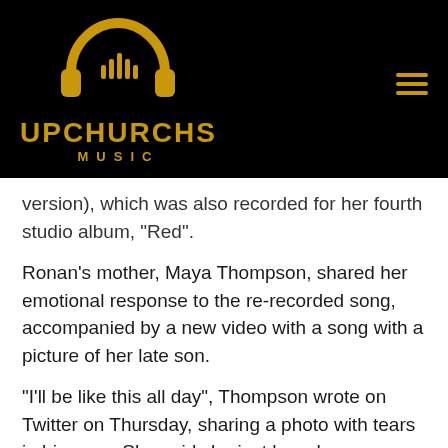[Figure (logo): Upchurchs Music logo: gold headphones icon with audio bars in the center, gold text 'UPCHURCHS' in bold and 'MUSIC' in spaced capitals below, on black background]
version), which was also recorded for her fourth studio album, "Red".
Ronan's mother, Maya Thompson, shared her emotional response to the re-recorded song, accompanied by a new video with a song with a picture of her late son.
"I'll be like this all day", Thompson wrote on Twitter on Thursday, sharing a photo with tears in his eyes. She said she just heard